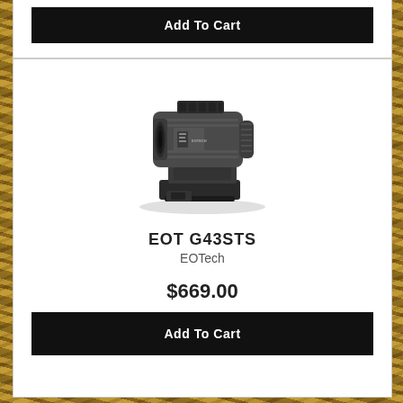Add To Cart
[Figure (photo): EOTech G43STS magnifier optic with side-flip mount, dark gray/black finish, shown from left side with EOTECH logo visible]
EOT G43STS
EOTech
$669.00
Add To Cart